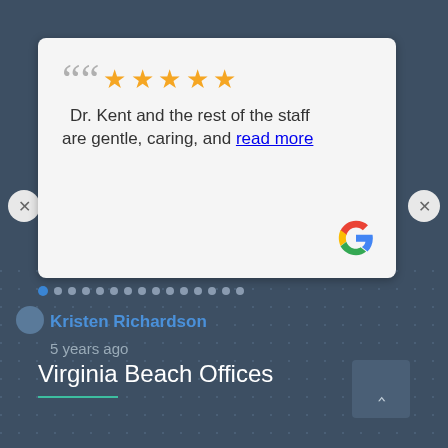Dr. Kent and the rest of the staff are gentle, caring, and read more
Kristen Richardson
5 years ago
Virginia Beach Offices